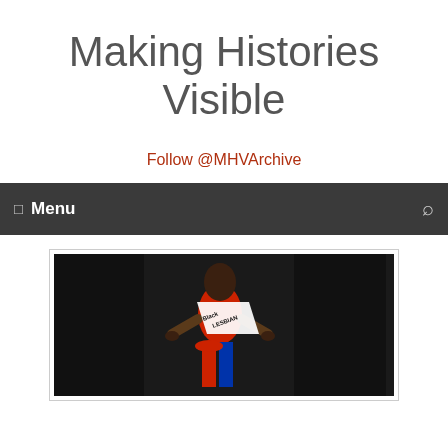Making Histories Visible
Follow @MHVArchive
Menu
[Figure (photo): Person wearing a red swimsuit and a white pageant sash with text 'Black Lesbian' written on it, posed with hands on hips against a dark background]